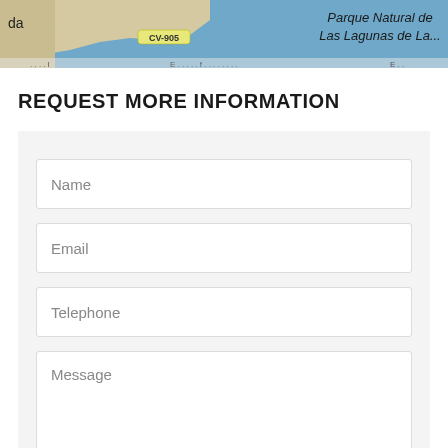[Figure (map): Partial map screenshot showing 'Parque Natural de Las Lagunas de La...' text, a road labeled CV-905, and 'da' text on the left side. Map uses blue water and tan land colors.]
REQUEST MORE INFORMATION
Name
Email
Telephone
Message